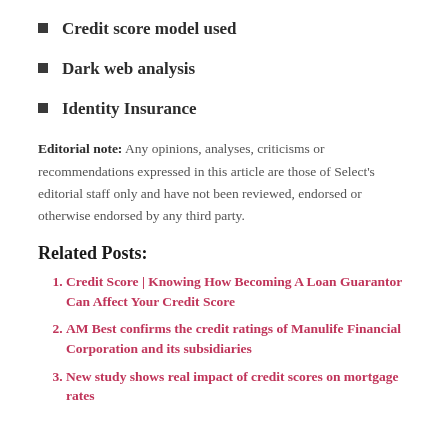Credit score model used
Dark web analysis
Identity Insurance
Editorial note: Any opinions, analyses, criticisms or recommendations expressed in this article are those of Select's editorial staff only and have not been reviewed, endorsed or otherwise endorsed by any third party.
Related Posts:
Credit Score | Knowing How Becoming A Loan Guarantor Can Affect Your Credit Score
AM Best confirms the credit ratings of Manulife Financial Corporation and its subsidiaries
New study shows real impact of credit scores on mortgage rates